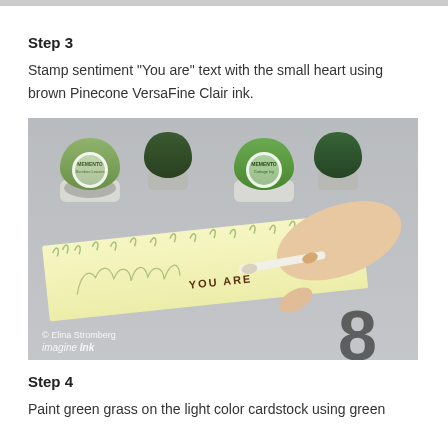Step 3
Stamp sentiment "You are" text with the small heart using brown Pinecone VersaFine Clair ink.
[Figure (photo): Photo showing ink pads (Memento brand, green colors) on a gray surface, with a hand holding a blending tool over a light yellow cardstock strip that has 'YOU ARE' stamped on it, along with decorative grass/leaf stamping. Watermark reads '© Elina Stromberg / Imagine Ink']
Step 4
Paint green grass on the light color cardstock using green